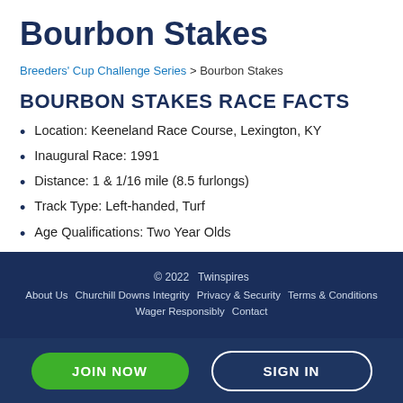Bourbon Stakes
Breeders' Cup Challenge Series > Bourbon Stakes
BOURBON STAKES RACE FACTS
Location: Keeneland Race Course, Lexington, KY
Inaugural Race: 1991
Distance: 1 & 1/16 mile (8.5 furlongs)
Track Type: Left-handed, Turf
Age Qualifications: Two Year Olds
2021 Purse: $200,000
2021 Race Date: Sunday, October 10th
© 2022 Twinspires About Us Churchill Downs Integrity Privacy & Security Terms & Conditions Wager Responsibly Contact
JOIN NOW | SIGN IN